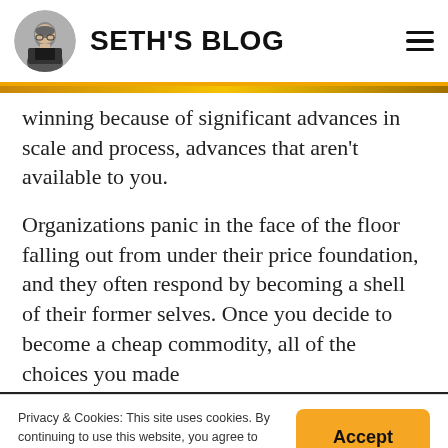SETH'S BLOG
winning because of significant advances in scale and process, advances that aren't available to you.
Organizations panic in the face of the floor falling out from under their price foundation, and they often respond by becoming a shell of their former selves. Once you decide to become a cheap commodity, all of the choices you made
Privacy & Cookies: This site uses cookies. By continuing to use this website, you agree to their use.
To find out more, including how to control cookies, see here: Cookie Policy